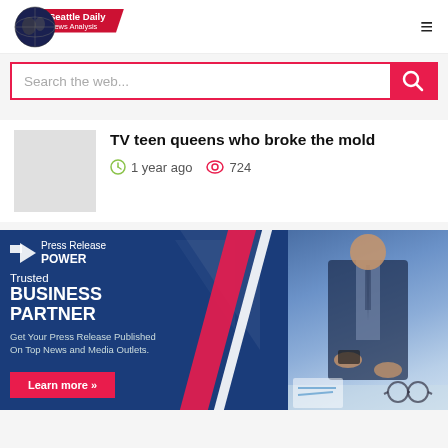Seattle Daily News Analysis
Search the web...
TV teen queens who broke the mold
1 year ago  724
[Figure (illustration): Press Release Power advertisement banner: Trusted BUSINESS PARTNER. Get Your Press Release Published On Top News and Media Outlets. Learn more »]